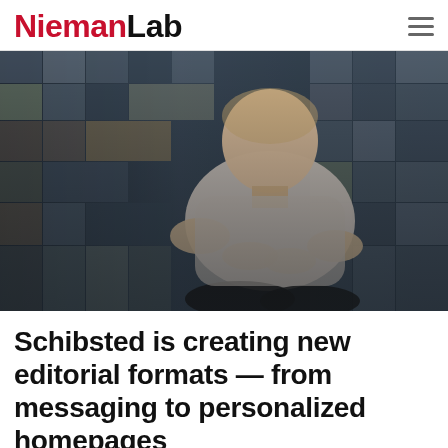NiemanLab
[Figure (photo): A man in a light grey sweater sitting cross-legged with his hands gesturing, in front of a wall covered in photos in a collage style. The background shows many magazine or newspaper photos arranged as a mosaic.]
Schibsted is creating new editorial formats — from messaging to personalized homepages